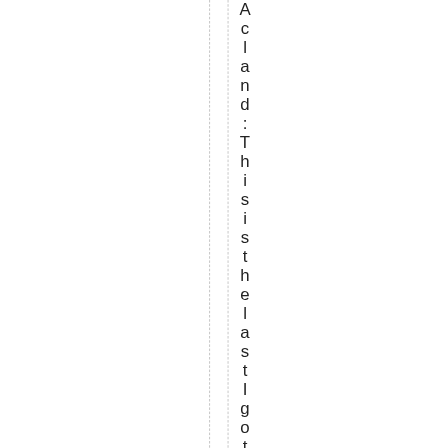Acland: This is the last I got: http...